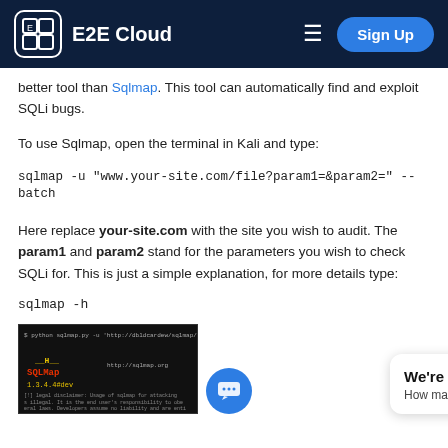E2E Cloud
better tool than Sqlmap. This tool can automatically find and exploit SQLi bugs.
To use Sqlmap, open the terminal in Kali and type:
Here replace your-site.com with the site you wish to audit. The param1 and param2 stand for the parameters you wish to check SQLi for. This is just a simple explanation, for more details type:
[Figure (screenshot): Terminal screenshot showing sqlmap running against a MySQL target, with sqlmap logo in yellow/red and disclaimer text]
We're Online! How may I help you today?